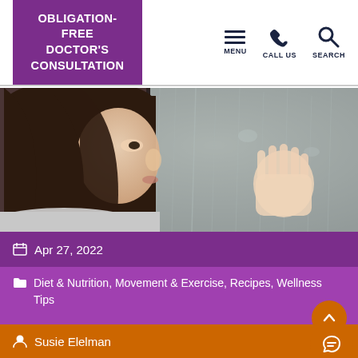OBLIGATION-FREE DOCTOR'S CONSULTATION
MENU  CALL US  SEARCH
[Figure (photo): Young woman with long dark hair looking out a rainy window, hand pressed against glass, sad/pensive expression.]
Apr 27, 2022
Diet & Nutrition, Movement & Exercise, Recipes, Wellness Tips
Susie Elelman